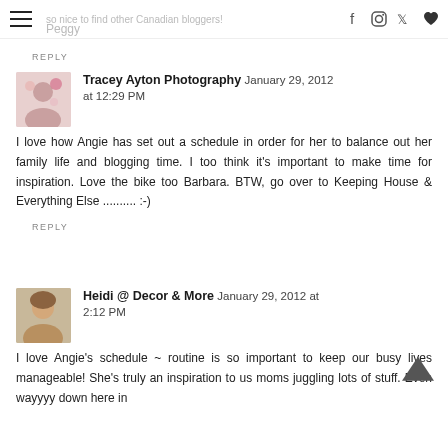so nice to find other Canadian bloggers! Peggy [social icons: facebook, instagram, twitter, heart]
REPLY
Tracey Ayton Photography  January 29, 2012 at 12:29 PM
I love how Angie has set out a schedule in order for her to balance out her family life and blogging time. I too think it's important to make time for inspiration. Love the bike too Barbara. BTW, go over to Keeping House & Everything Else .......... :-)
REPLY
Heidi @ Decor & More  January 29, 2012 at 2:12 PM
I love Angie's schedule ~ routine is so important to keep our busy lives manageable! She's truly an inspiration to us moms juggling lots of stuff. Even wayyyy down here in